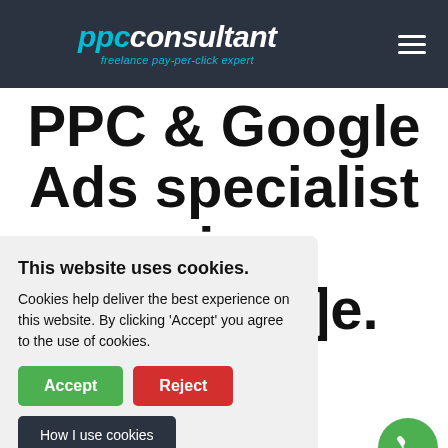ppc consultant — freelance pay-per-click expert
PPC & Google Ads specialist in [location].
over 10 years aging paid es. I help esults-driven turn on your and sales.
This website uses cookies. Cookies help deliver the best experience on this website. By clicking 'Accept' you agree to the use of cookies. [Accept] [Reject] [How I use cookies]
sses from variety of different industry sectors and I work closely